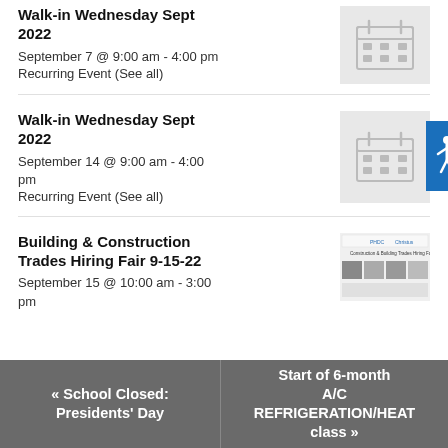Walk-in Wednesday Sept 2022
September 7 @ 9:00 am - 4:00 pm
Recurring Event (See all)
[Figure (illustration): Calendar icon on grey background]
Walk-in Wednesday Sept 2022
September 14 @ 9:00 am - 4:00 pm
Recurring Event (See all)
[Figure (illustration): Calendar icon on grey background]
Building & Construction Trades Hiring Fair 9-15-22
September 15 @ 10:00 am - 3:00 pm
[Figure (photo): Construction & Building Trades Hiring Fair flyer with multiple photos of workers]
« School Closed: Presidents' Day
Start of 6-month A/C REFRIGERATION/HEAT class »